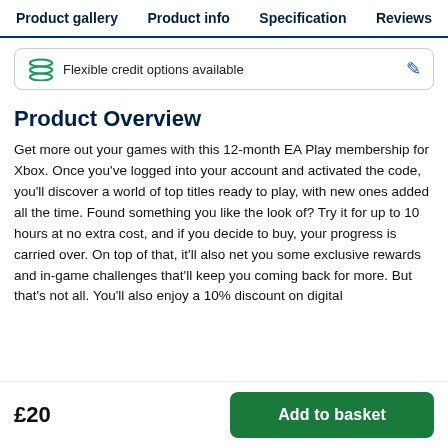Product gallery  Product info  Specification  Reviews
Flexible credit options available
Product Overview
Get more out your games with this 12-month EA Play membership for Xbox. Once you've logged into your account and activated the code, you'll discover a world of top titles ready to play, with new ones added all the time. Found something you like the look of? Try it for up to 10 hours at no extra cost, and if you decide to buy, your progress is carried over. On top of that, it'll also net you some exclusive rewards and in-game challenges that'll keep you coming back for more. But that's not all. You'll also enjoy a 10% discount on digital
£20
Add to basket